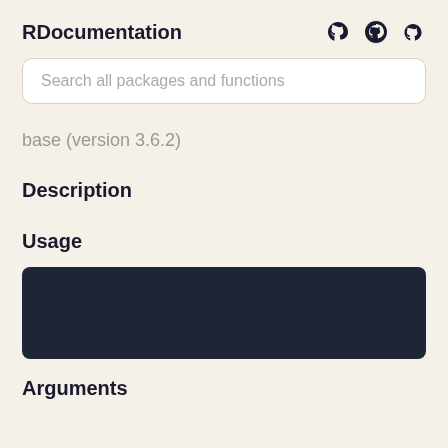RDocumentation
Search all packages and functions
base (version 3.6.2)
Description
Usage
[Figure (screenshot): Dark code block area for usage examples]
Arguments